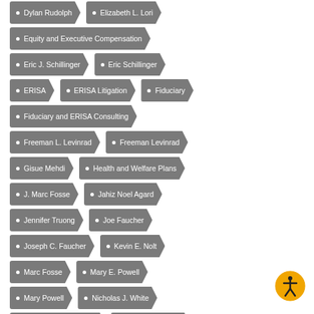Dylan Rudolph
Elizabeth L. Lori
Equity and Executive Compensation
Eric J. Schillinger
Eric Schillinger
ERISA
ERISA Litigation
Fiduciary
Fiduciary and ERISA Consulting
Freeman L. Levinrad
Freeman Levinrad
Gisue Mehdi
Health and Welfare Plans
J. Marc Fosse
Jahiz Noel Agard
Jennifer Truong
Joe Faucher
Joseph C. Faucher
Kevin E. Nolt
Marc Fosse
Mary E. Powell
Mary Powell
Nicholas J. White
R. BRADFORD HUSS
Retirement Plans
Robert Gower
Robert R. Gower
Sarah Kanter
Sean T. Strauss
Shannon Oliver
T. Katuri Kaye